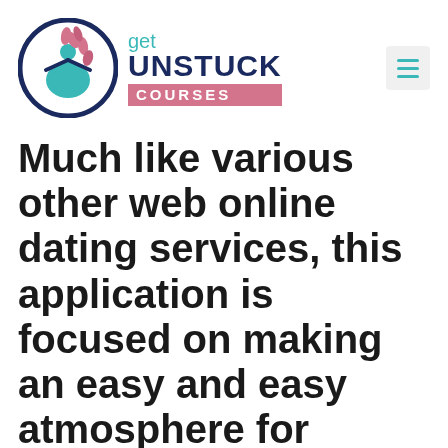[Figure (logo): Get Unstuck Courses logo with circular icon showing a person with raised arms and pink leaves, teal and navy color scheme]
Much like various other web online dating services, this application is focused on making an easy and easy atmosphere for